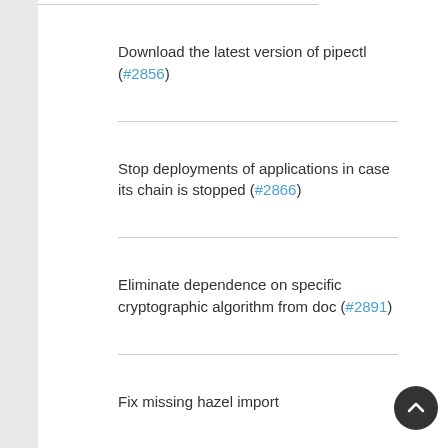Download the latest version of pipectl (#2856)
Stop deployments of applications in case its chain is stopped (#2866)
Eliminate dependence on specific cryptographic algorithm from doc (#2891)
Fix missing hazel import